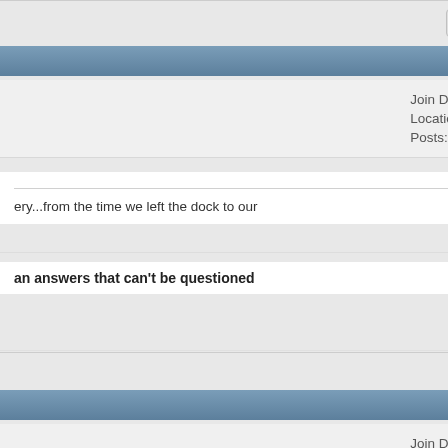Reply With Quote
#47169
| Join Date: | Feb 2002 |
| Location: | Uki, NSW, Australia |
| Posts: | 35,241 |
ery...from the time we left the dock to our
an answers that can't be questioned
Reply With Quote
#47170
| Join Date: | Feb 2002 |
| Location: | Uki, NSW, Australia |
| Posts: | 35,241 |